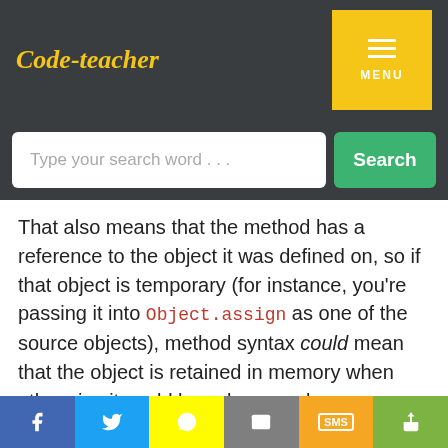Code-teacher
That also means that the method has a reference to the object it was defined on, so if that object is temporary (for instance, you're passing it into Object.assign as one of the source objects), method syntax could mean that the object is retained in memory when otherwise it could have been garbage collected (if the JavaScript engine doesn't detect that situation and handle it if none of the methods uses super).